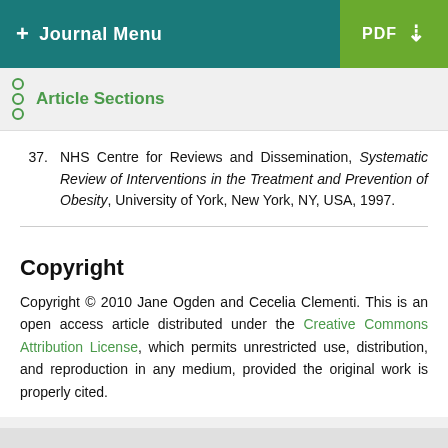+ Journal Menu | PDF ↓
Article Sections
37. NHS Centre for Reviews and Dissemination, Systematic Review of Interventions in the Treatment and Prevention of Obesity, University of York, New York, NY, USA, 1997.
Copyright
Copyright © 2010 Jane Ogden and Cecelia Clementi. This is an open access article distributed under the Creative Commons Attribution License, which permits unrestricted use, distribution, and reproduction in any medium, provided the original work is properly cited.